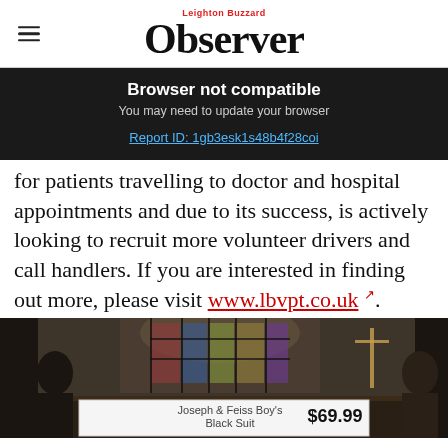Leighton Buzzard Observer
Browser not compatible
You may need to update your browser
Report ID: 1gb3esk1s48b4f28coi
for patients travelling to doctor and hospital appointments and due to its success, is actively looking to recruit more volunteer drivers and call handlers. If you are interested in finding out more, please visit www.lbvpt.co.uk.
[Figure (photo): Church interior photograph with stained glass and wooden fixtures, partially obscured by overlay ad showing 'Joseph & Feiss Boy's Black Suit $69.99']